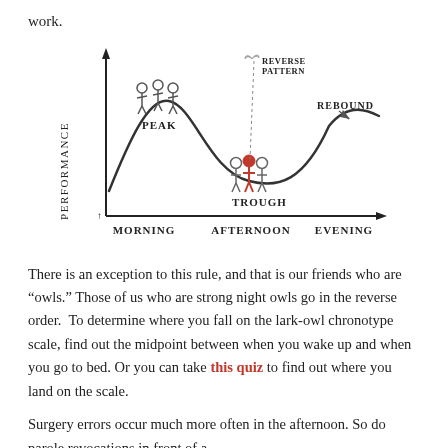work.
[Figure (illustration): Hand-drawn style chart showing a performance curve over time (Morning, Afternoon, Evening). The curve peaks in the morning labeled PEAK, dips in the afternoon labeled TROUGH, and rises again in the evening labeled REBOUND. A bird is shown at the top labeled REVERSE PATTERN. Stick figures are shown at each stage. The y-axis is labeled PERFORMANCE and the x-axis shows MORNING, AFTERNOON, EVENING.]
There is an exception to this rule, and that is our friends who are “owls.” Those of us who are strong night owls go in the reverse order.  To determine where you fall on the lark-owl chronotype scale, find out the midpoint between when you wake up and when you go to bed. Or you can take this quiz to find out where you land on the scale.
Surgery errors occur much more often in the afternoon. So do parole revocations in front of a